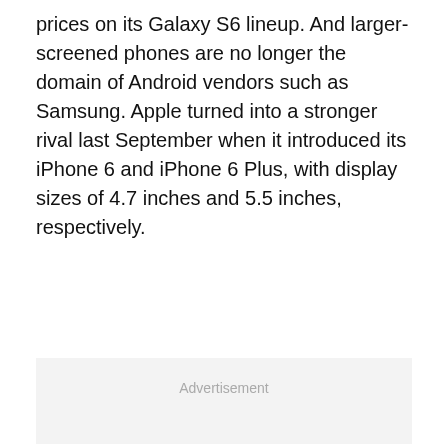prices on its Galaxy S6 lineup. And larger-screened phones are no longer the domain of Android vendors such as Samsung. Apple turned into a stronger rival last September when it introduced its iPhone 6 and iPhone 6 Plus, with display sizes of 4.7 inches and 5.5 inches, respectively.
[Figure (other): Advertisement placeholder box with light gray background and 'Advertisement' label in gray text]